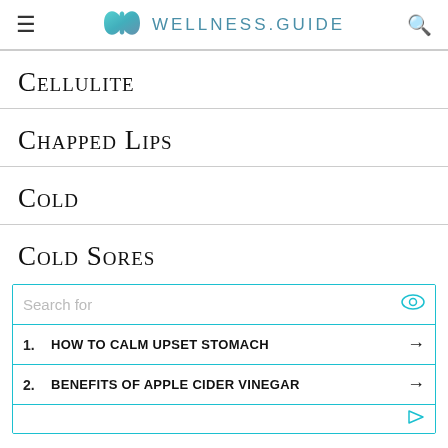WELLNESS.GUIDE
Cellulite
Chapped Lips
Cold
Cold Sores
[Figure (other): Sponsored search advertisement widget with search bar, two sponsored links: 1. HOW TO CALM UPSET STOMACH, 2. BENEFITS OF APPLE CIDER VINEGAR]